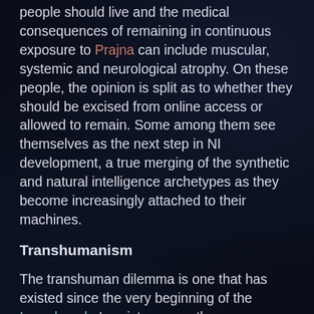people should live and the medical consequences of remaining in continuous exposure to Prajna can include muscular, systemic and neurological atrophy. On these people, the opinion is split as to whether they should be excised from online access or allowed to remain. Some among them see themselves as the next step in NI development, a true merging of the synthetic and natural intelligence archetypes as they become increasingly attached to their machines.
Transhumanism
The transhuman dilemma is one that has existed since the very beginning of the Iromakuanhe's existence, as they themselves are not anything other than humans who have received extensive bio-modification and genetic alterations. But this dilemma is neither the most recent nor most pertinent to modern Iroma. The current issues are those of genetic therapy both before and after birth, as well as the usage of symbiotic organs and other biologically-derived artificial body systems. The average